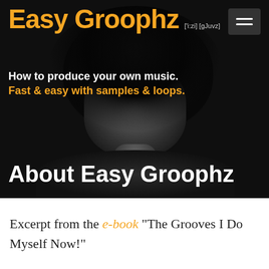[Figure (photo): Website header for Easy Groophz showing a grayscale portrait of a woman with a large afro hairstyle against a dark/black background, with the site logo, navigation hamburger menu, tagline, and section heading overlaid.]
Easy Groophz
['i:zi] [gJuvz]
How to produce your own music. Fast & easy with samples & loops.
About Easy Groophz
Excerpt from the e-book "The Grooves I Do Myself Now!"